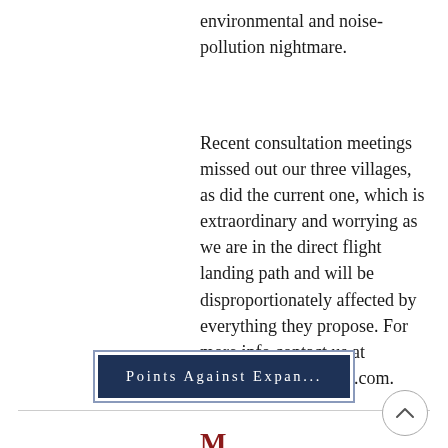environmental and noise-pollution nightmare.
Recent consultation meetings missed out our three villages, as did the current one, which is extraordinary and worrying as we are in the direct flight landing path and will be disproportionately affected by everything they propose. For more info contact us at skwale.group@gmail.com.
[Figure (other): Dark navy blue button labelled 'Points Against Expan...' with letter-spaced serif text, framed with a double border outline]
M